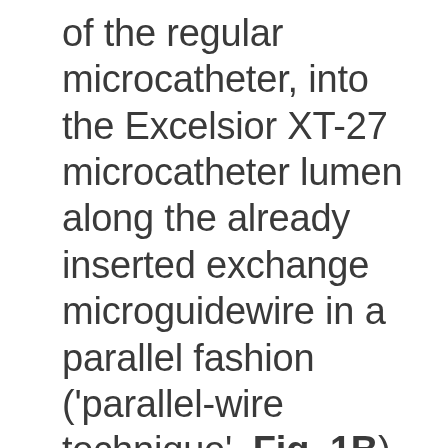of the regular microcatheter, into the Excelsior XT-27 microcatheter lumen along the already inserted exchange microguidewire in a parallel fashion ('parallel-wire technique', Fig. 1B). Then, the microcatheter navigated further into the branch over